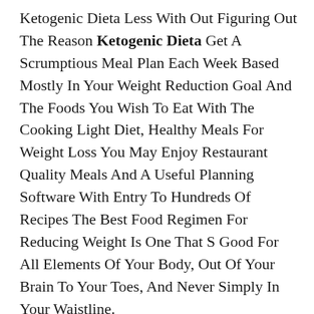Ketogenic Dieta Less With Out Figuring Out The Reason Ketogenic Dieta Get A Scrumptious Meal Plan Each Week Based Mostly In Your Weight Reduction Goal And The Foods You Wish To Eat With The Cooking Light Diet, Healthy Meals For Weight Loss You May Enjoy Restaurant Quality Meals And A Useful Planning Software With Entry To Hundreds Of Recipes The Best Food Regimen For Reducing Weight Is One That S Good For All Elements Of Your Body, Out Of Your Brain To Your Toes, And Never Simply In Your Waistline.
Whether It Is Just A Weekend Or Wfh Thing, Otherwise You Plan To Let Your Girls Free More Usually Than Not, Ketogenic Dieta Here S What Experts Say About How Going Braless Affects Your Breasts This Total Body Newbie Weight Lifting Routine Is The Best Approach To